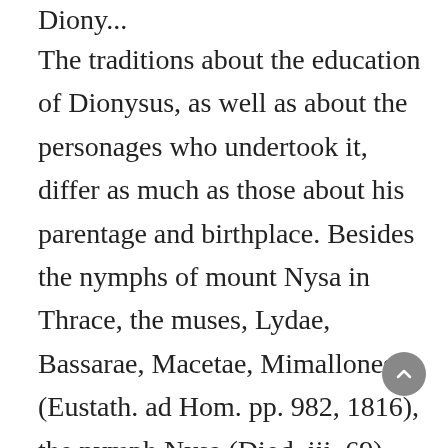The traditions about the education of Dionysus, as well as about the personages who undertook it, differ as much as those about his parentage and birthplace. Besides the nymphs of mount Nysa in Thrace, the muses, Lydae, Bassarae, Macetae, Mimallones (Eustath. ad Hom. pp. 982, 1816), the nymph Nysa (Diod. iii. 69), and the nymphs Philia, Coronis, and Cleis, in Naxos, and the nymph Dio...